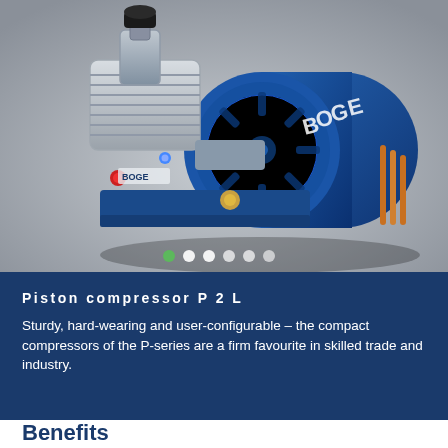[Figure (photo): Photograph of a BOGE piston compressor P 2 L — a compact blue and silver industrial compressor unit with motor, displayed on a grey background.]
Piston compressor P 2 L
Sturdy, hard-wearing and user-configurable – the compact compressors of the P-series are a firm favourite in skilled trade and industry.
Benefits